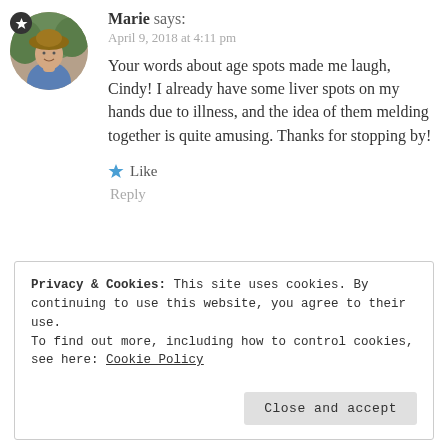[Figure (photo): Circular avatar photo of a woman wearing a hat, with a dark star badge icon in the top-left of the circle]
Marie says:
April 9, 2018 at 4:11 pm
Your words about age spots made me laugh, Cindy! I already have some liver spots on my hands due to illness, and the idea of them melding together is quite amusing. Thanks for stopping by!
★ Like
Reply
Privacy & Cookies: This site uses cookies. By continuing to use this website, you agree to their use.
To find out more, including how to control cookies, see here: Cookie Policy
Close and accept